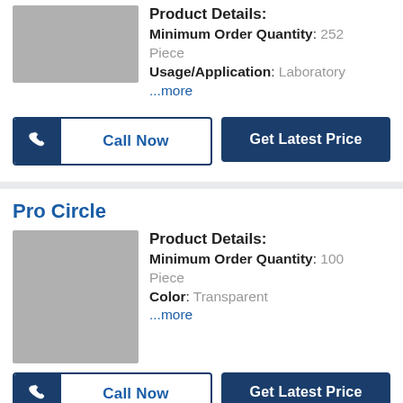[Figure (photo): Grey placeholder product image]
Product Details: Minimum Order Quantity: 252 Piece Usage/Application: Laboratory ...more
Call Now | Get Latest Price
Pro Circle
[Figure (photo): Grey placeholder product image]
Product Details: Minimum Order Quantity: 100 Piece Color: Transparent ...more
Call Now | Get Latest Price